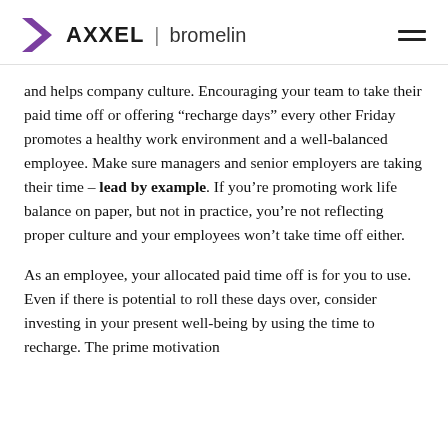AXXEL | bromelin
and helps company culture. Encouraging your team to take their paid time off or offering “recharge days” every other Friday promotes a healthy work environment and a well-balanced employee. Make sure managers and senior employers are taking their time – lead by example. If you’re promoting work life balance on paper, but not in practice, you’re not reflecting proper culture and your employees won’t take time off either.
As an employee, your allocated paid time off is for you to use. Even if there is potential to roll these days over, consider investing in your present well-being by using the time to recharge. The prime motivation...